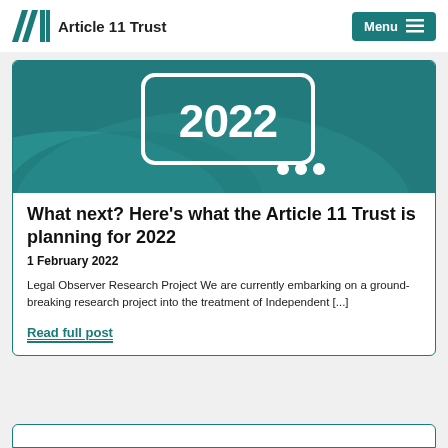Article 11 Trust | Menu
[Figure (illustration): Teal/dark teal decorative banner image showing '2022' in a rounded rectangle with decorative wave shapes and three dots on a teal background.]
What next? Here's what the Article 11 Trust is planning for 2022
1 February 2022
Legal Observer Research Project We are currently embarking on a ground-breaking research project into the treatment of Independent [...]
Read full post